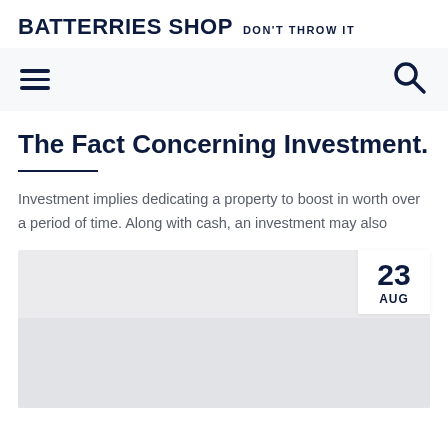BATTERRIES SHOP DON'T THROW IT
[Figure (other): Navigation bar with hamburger menu on left and search icon on right]
The Fact Concerning Investment.
Investment implies dedicating a property to boost in worth over a period of time. Along with cash, an investment may also
[Figure (other): Article card image placeholder with date badge showing 23 AUG in top right corner]